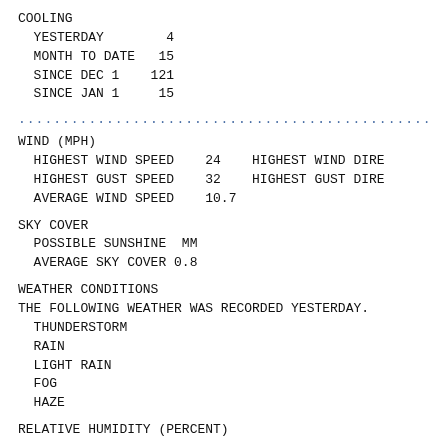COOLING
YESTERDAY        4                                       0
  MONTH TO DATE   15                                       0
  SINCE DEC 1    121                                      24
  SINCE JAN 1     15                                       0
...............................................
WIND (MPH)
HIGHEST WIND SPEED    24    HIGHEST WIND DIRE
  HIGHEST GUST SPEED    32    HIGHEST GUST DIRE
  AVERAGE WIND SPEED    10.7
SKY COVER
POSSIBLE SUNSHINE  MM
  AVERAGE SKY COVER 0.8
WEATHER CONDITIONS
THE FOLLOWING WEATHER WAS RECORDED YESTERDAY.
  THUNDERSTORM
  RAIN
  LIGHT RAIN
  FOG
  HAZE
RELATIVE HUMIDITY (PERCENT)